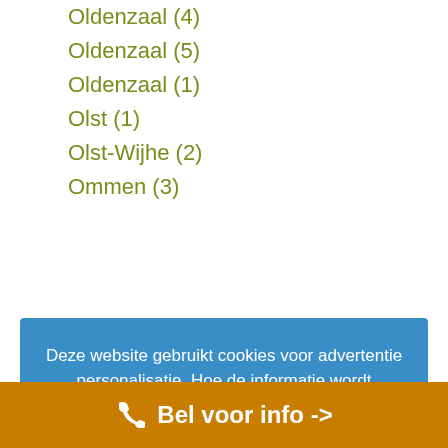Oldenzaal (4)
Oldenzaal (5)
Oldenzaal (1)
Olst (1)
Olst-Wijhe (2)
Ommen (3)
Deze website gebruikt cookies voor advertentie personalisatie. Hoe de informatie wordt gebruikt leest u
Google Privacy & Terms >>  Ok, ik snap het.
Oost-Souburg (2)
Oostburg (3)
Oosterbeek (5)
Oosterbeek (8)
Bel voor info ->